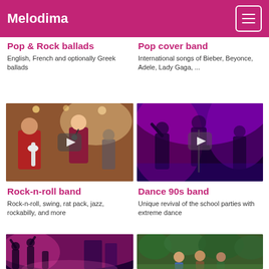Melodima
Pop & Rock ballads
English, French and optionally Greek ballads
Pop cover band
International songs of Bieber, Beyonce, Adele, Lady Gaga, ...
[Figure (photo): Video thumbnail of a rock band performing live with a guitarist in red and a female singer with a microphone. Play button overlay visible.]
Rock-n-roll band
Rock-n-roll, swing, rat pack, jazz, rockabilly, and more
[Figure (photo): Video thumbnail of a concert with purple stage lighting and energetic dancers. Play button overlay visible.]
Dance 90s band
Unique revival of the school parties with extreme dance
[Figure (photo): Photo of an outdoor event with crowd and pink lighting.]
[Figure (photo): Photo of band members outdoors in a natural setting.]